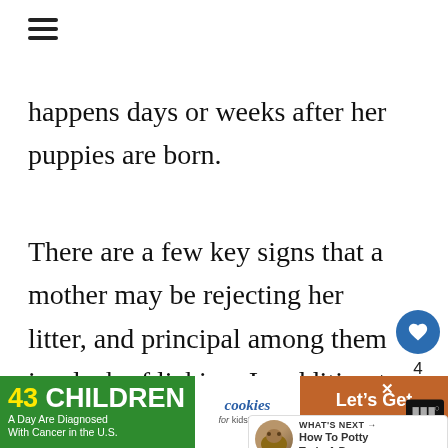[Figure (other): Hamburger menu icon (three horizontal lines)]
happens days or weeks after her puppies are born.
There are a few key signs that a mother may be rejecting her litter, and principal among them is a lack of licking. In addition to keeping them clean, this is a way for a mother to mark her pupp... with her scent. If she isn't doing this for...
[Figure (other): Heart/like button with count 4 and share button sidebar]
[Figure (other): What's Next widget showing 'How To Potty Train A Pupp...' with a dog thumbnail]
[Figure (other): Advertisement banner: '43 CHILDREN A Day Are Diagnosed With Cancer in the U.S.' / cookies for kids cancer / Let's Get Baking]